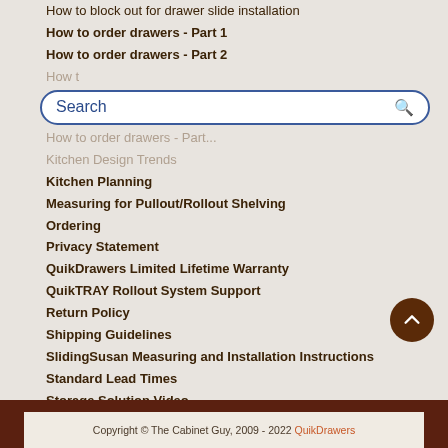How to block out for drawer slide installation
How to order drawers - Part 1
How to order drawers - Part 2
How to... (partially hidden)
[Figure (screenshot): Search input box with blue border and magnifying glass icon]
How to order drawers - Part... (partially hidden)
Kitchen Design Trends
Kitchen Planning
Measuring for Pullout/Rollout Shelving
Ordering
Privacy Statement
QuikDrawers Limited Lifetime Warranty
QuikTRAY Rollout System Support
Return Policy
Shipping Guidelines
SlidingSusan Measuring and Installation Instructions
Standard Lead Times
Storage Solution Video
Terms Of Service
Wood Guide and Information
Copyright © The Cabinet Guy, 2009 - 2022 QuikDrawers